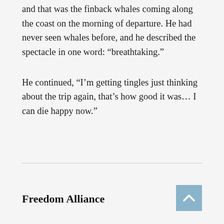and that was the finback whales coming along the coast on the morning of departure. He had never seen whales before, and he described the spectacle in one word: “breathtaking.”
He continued, “I’m getting tingles just thinking about the trip again, that’s how good it was… I can die happy now.”
Freedom Alliance